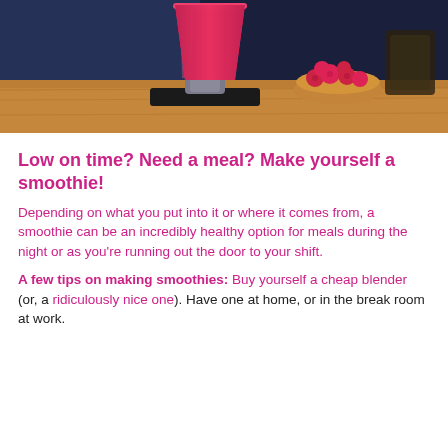[Figure (photo): A red/pink smoothie in a tall glass on a black coaster on a wooden table, with a bowl of raspberries in the background]
Low on time? Need a meal? Make yourself a smoothie!
Depending on what you put into it or where it comes from, a smoothie can be an incredibly healthy option for meals during the night or as you're running out the door to your shift.
A few tips on making smoothies: Buy yourself a cheap blender (or, a ridiculously nice one). Have one at home, or in the break room at work.